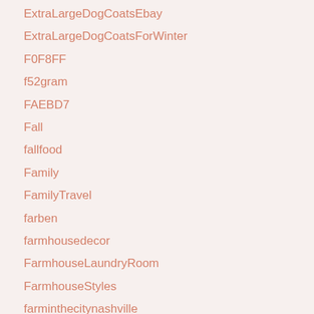ExtraLargeDogCoatsEbay
ExtraLargeDogCoatsForWinter
F0F8FF
f52gram
FAEBD7
Fall
fallfood
Family
FamilyTravel
farben
farmhousedecor
FarmhouseLaundryRoom
FarmhouseStyles
farminthecitynashville
fashion